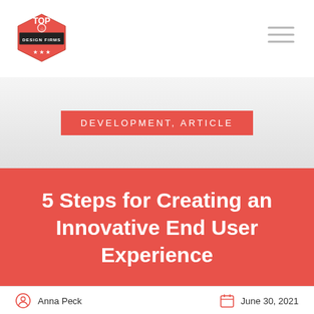TOP DESIGN FIRMS — Navigation header with logo and hamburger menu
DEVELOPMENT, ARTICLE
5 Steps for Creating an Innovative End User Experience
Anna Peck
June 30, 2021